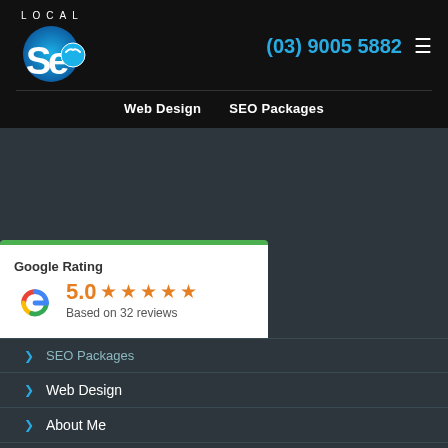[Figure (logo): Local SEO logo with circular blue icon showing a seagull and gradient blue design, with 'LOCAL' text above 'SEO' letters]
(03) 9005 5882
≡
Web Design   SEO Packages
[Figure (screenshot): Google Rating card showing 5.0 stars based on 32 reviews, with Google G logo in red/yellow/green/blue colors]
SEO Packages
Web Design
About Me
Sitemap